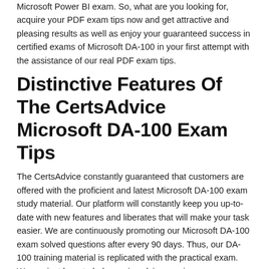Microsoft Power BI exam. So, what are you looking for, acquire your PDF exam tips now and get attractive and pleasing results as well as enjoy your guaranteed success in certified exams of Microsoft DA-100 in your first attempt with the assistance of our real PDF exam tips.
Distinctive Features Of The CertsAdvice Microsoft DA-100 Exam Tips
The CertsAdvice constantly guaranteed that customers are offered with the proficient and latest Microsoft DA-100 exam study material. Our platform will constantly keep you up-to-date with new features and liberates that will make your task easier. We are continuously promoting our Microsoft DA-100 exam solved questions after every 90 days. Thus, our DA-100 training material is replicated with the practical exam. We are just here to help you in solving any issue or questions you have related to Microsoft DA-100 exam.
Simple To Use And Print Our DA-100 PDF Exam Questions